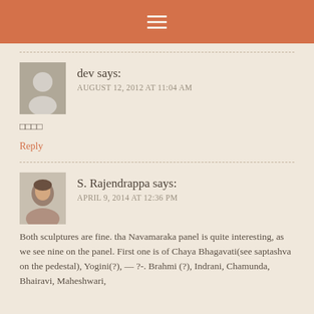☰
dev says:
AUGUST 12, 2012 AT 11:04 AM
□□□□
Reply
S. Rajendrappa says:
APRIL 9, 2014 AT 12:36 PM
Both sculptures are fine. tha Navamaraka panel is quite interesting, as we see nine on the panel. First one is of Chaya Bhagavati(see saptashva on the pedestal), Yogini(?), — ?-. Brahmi (?), Indrani, Chamunda, Bhairavi, Maheshwari,